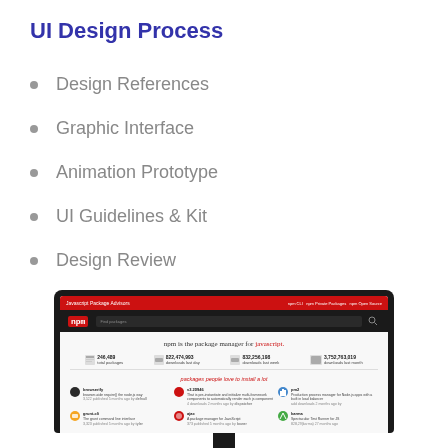UI Design Process
Design References
Graphic Interface
Animation Prototype
UI Guidelines & Kit
Design Review
[Figure (screenshot): Screenshot of the npm website (npmjs.com) displayed on a monitor. The page shows the npm logo, the tagline 'npm is the package manager for javascript.', package statistics (246,489 packages; 822,474,993 downloads last day; 832,256,198 downloads last week; 3,752,763,019 downloads last month), a 'packages people love to install a lot' section, and a grid of popular packages including browserify, grunt-cli, ajax, pm2, and karma.]